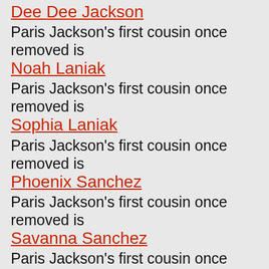Dee Dee Jackson
Paris Jackson's first cousin once removed is
Noah Laniak
Paris Jackson's first cousin once removed is
Sophia Laniak
Paris Jackson's first cousin once removed is
Phoenix Sanchez
Paris Jackson's first cousin once removed is
Savanna Sanchez
Paris Jackson's first cousin once removed is
Vernon Whitehead
Paris Jackson's first cousin once removed is
Albert Whitehead
Paris Jackson's first cousin once removed is
Jonathan Whitehead
Paris Jackson's first cousin once removed is